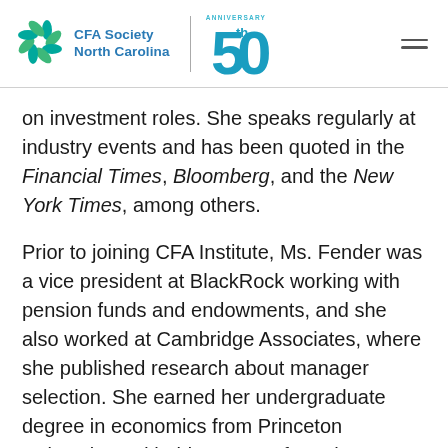CFA Society North Carolina 50th Anniversary
on investment roles. She speaks regularly at industry events and has been quoted in the Financial Times, Bloomberg, and the New York Times, among others.
Prior to joining CFA Institute, Ms. Fender was a vice president at BlackRock working with pension funds and endowments, and she also worked at Cambridge Associates, where she published research about manager selection. She earned her undergraduate degree in economics from Princeton University and holds an MBA from the Darden School at the University of